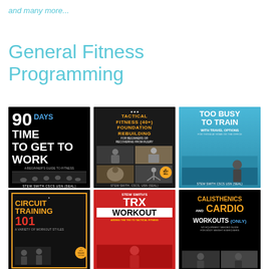and many more...
General Fitness Programming
[Figure (illustration): Book cover: 90 Days Time to Get to Work - A Beginner's Guide to Fitness by Stew Smith CSCS USN (SEAL), black background with runners silhouette]
[Figure (illustration): Book cover: Tactical Fitness (40+) Foundation Rebuilding - For Beginners or Recovering From Injury by Stew Smith, CSCS, USN (SEAL), dark background with photo grid]
[Figure (illustration): Book cover: Too Busy to Train with Travel Options by Stew Smith CSCS USN (SEAL), blue background with person walking in airport]
[Figure (illustration): Book cover: Circuit Training 101 - A Variety of Workout Styles, black background with orange and red text]
[Figure (illustration): Book cover: Stew Smith's TRX Workout - Adding the TRX to Tactical Fitness, red background]
[Figure (illustration): Book cover: Calisthenics and Cardio Workouts (Only) - No Equipment Needed Guide for Body Weight Exercisers, black background]